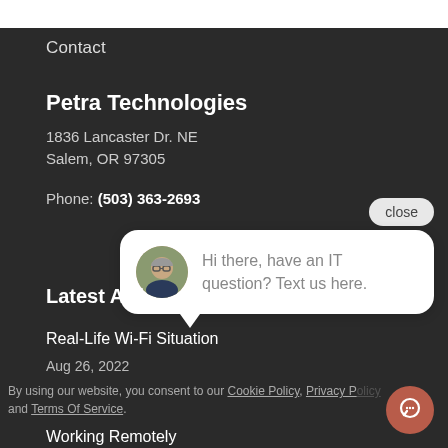Contact
Petra Technologies
1836 Lancaster Dr. NE
Salem, OR 97305
Phone: (503) 363-2693
[Figure (screenshot): Chat widget popup showing avatar photo of a man and text: 'Hi there, have an IT question? Text us here.' with a close button and a red chat icon button in bottom right corner.]
Latest Arti[cles]
Real-Life Wi-Fi Situation
Aug 26, 2022
By using our website, you consent to our Cookie Policy, Privacy P[olicy] and Terms Of Service.
Working Remotely